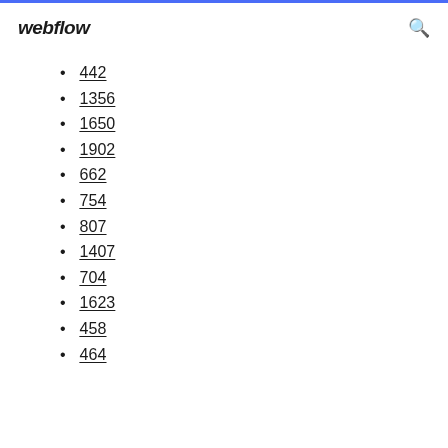webflow
442
1356
1650
1902
662
754
807
1407
704
1623
458
464